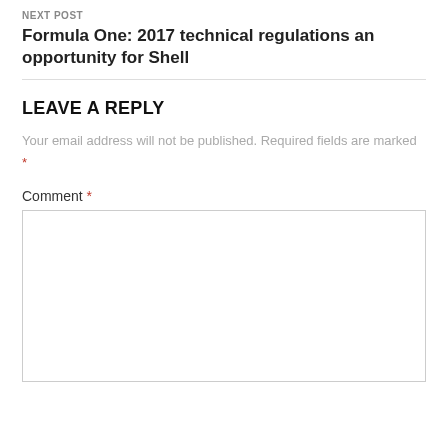NEXT POST
Formula One: 2017 technical regulations an opportunity for Shell
LEAVE A REPLY
Your email address will not be published. Required fields are marked *
Comment *